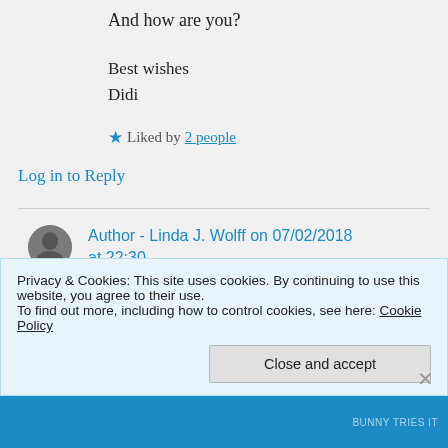And how are you?
Best wishes
Didi
★ Liked by 2 people
Log in to Reply
Author - Linda J. Wolff on 07/02/2018 at 22:30
👍 0 👎 0 ℹ Rate This
Privacy & Cookies: This site uses cookies. By continuing to use this website, you agree to their use.
To find out more, including how to control cookies, see here: Cookie Policy
Close and accept